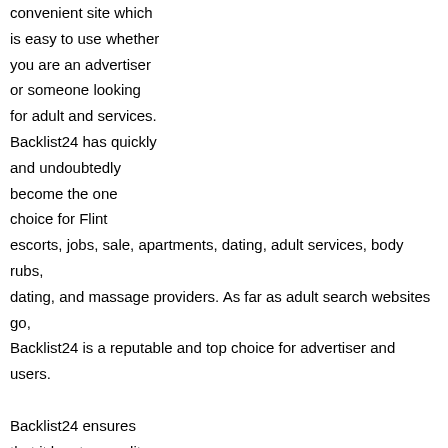convenient site which is easy to use whether you are an advertiser or someone looking for adult and services. Backlist24 has quickly and undoubtedly become the one choice for Flint escorts, jobs, sale, apartments, dating, adult services, body rubs, dating, and massage providers. As far as adult search websites go, Backlist24 is a reputable and top choice for advertiser and users.

Backlist24 ensures that it has top-quality advertisers and advertisements, and an ability to minimize bots and spam from the site. Backlist24 is